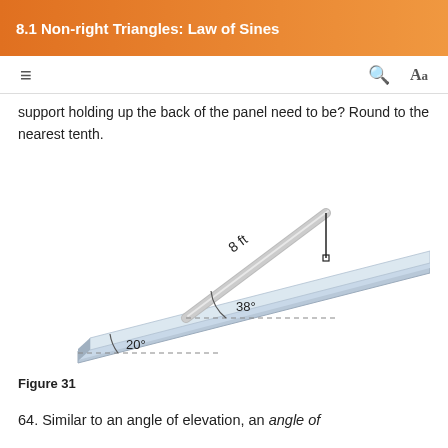8.1 Non-right Triangles: Law of Sines
support holding up the back of the panel need to be? Round to the nearest tenth.
[Figure (engineering-diagram): Diagram of a solar panel supported at an angle. The panel rests on a surface inclined at 20° from horizontal. A support rod of length 8 ft holds the panel at an angle of 38° from the panel surface. A vertical line drops from the top of the support to the panel. Dashed lines indicate the horizontal reference for each angle.]
Figure 31
64. Similar to an angle of elevation, an angle of